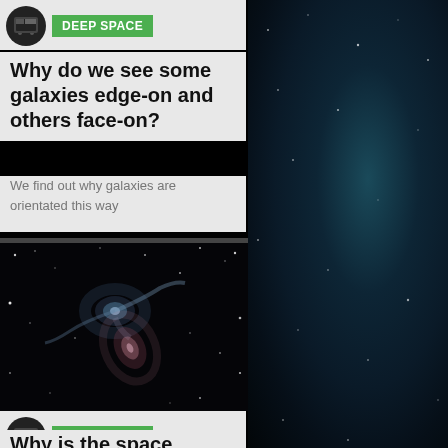DEEP SPACE
Why do we see some galaxies edge-on and others face-on?
We find out why galaxies are orientated this way
[Figure (photo): Astronomical photograph showing two interacting galaxies against a black starfield, with blue and pink galactic structures visible]
DEEP SPACE
Why is the space between